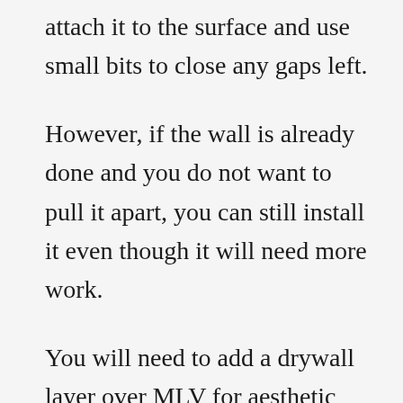attach it to the surface and use small bits to close any gaps left.

However, if the wall is already done and you do not want to pull it apart, you can still install it even though it will need more work.

You will need to add a drywall layer over MLV for aesthetic purposes.

All these added layers will make your